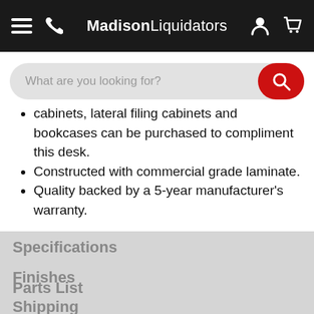MadisonLiquidators
[Figure (screenshot): Search bar with placeholder text 'What are you looking for?' and a red circular search button]
cabinets, lateral filing cabinets and bookcases can be purchased to compliment this desk.
Constructed with commercial grade laminate.
Quality backed by a 5-year manufacturer's warranty.
Specifications
Finishes
Parts List
Shipping